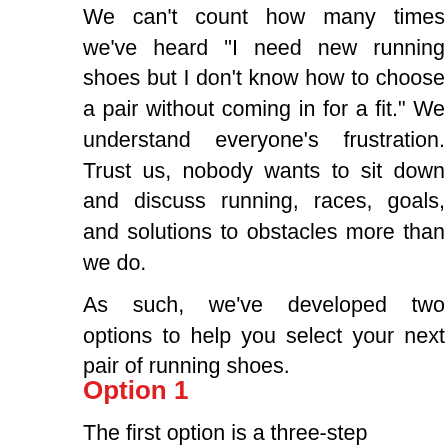We can't count how many times we've heard "I need new running shoes but I don't know how to choose a pair without coming in for a fit." We understand everyone's frustration. Trust us, nobody wants to sit down and discuss running, races, goals, and solutions to obstacles more than we do.
As such, we've developed two options to help you select your next pair of running shoes.
Option 1
The first option is a three-step process.
[Figure (photo): A man with a beard smiling, photographed indoors, partially visible at the bottom of the page]